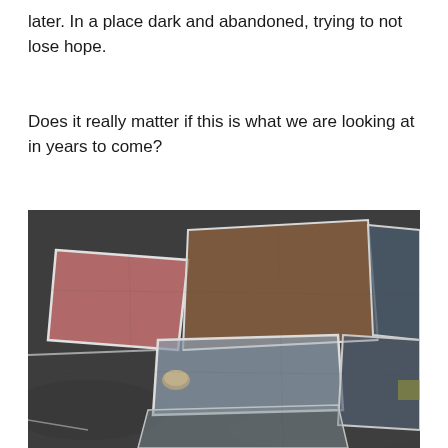later. In a place dark and abandoned, trying to not lose hope.
Does it really matter if this is what we are looking at in years to come?
[Figure (photo): Overhead view of old faded chalk drawings on dark asphalt pavement. Irregular rectangular shapes in faded pink, grey-blue, brown, and dark tones are visible, separated by white chalk outlines. A small stone or pebble sits in the lower-left area of the image.]